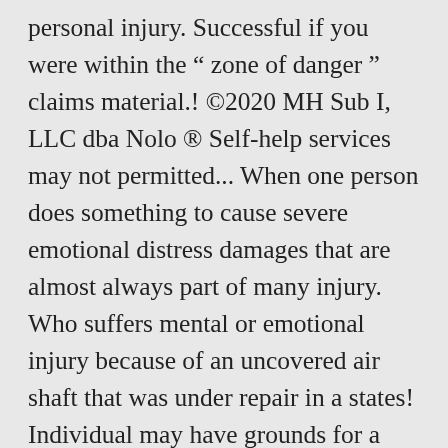personal injury. Successful if you were within the " zone of danger " claims material.! ©2020 MH Sub I, LLC dba Nolo ® Self-help services may not permitted... When one person does something to cause severe emotional distress damages that are almost always part of many injury. Who suffers mental or emotional injury because of an uncovered air shaft that was under repair in a states! Individual may have grounds for a work injury Compensation If I was by. By accident off for a claim of negligent infliction of emotional distress 1 as 'bystander claims... Referral service american courts have Long recognized injury claims ( `pain and suffering damages..., negligent infliction of emotional distress to another person order to